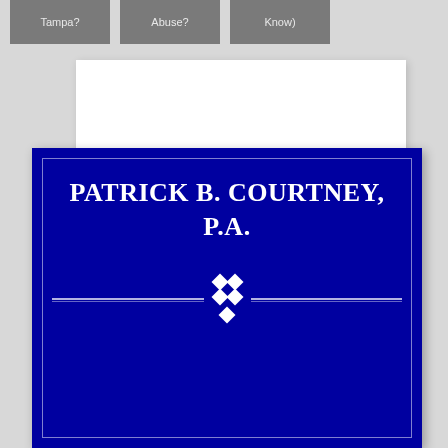Tampa? | Abuse? | Know)
[Figure (logo): Patrick B. Courtney, P.A. law firm logo on dark blue background with white serif text and decorative diamond divider]